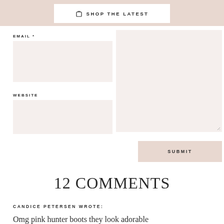🛍 SHOP THE LATEST
EMAIL *
WEBSITE
SUBMIT
12 COMMENTS
CANDICE PETERSEN WROTE:
Omg pink hunter boots they look adorable